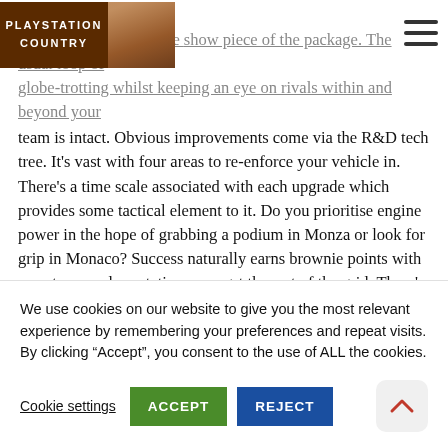PLAYSTATION COUNTRY
cycle.
career mode remains the show piece of the package. The usual loop of globe-trotting whilst keeping an eye on rivals within and beyond your team is intact. Obvious improvements come via the R&D tech tree. It's vast with four areas to re-enforce your vehicle in. There's a time scale associated with each upgrade which provides some tactical element to it. Do you prioritise engine power in the hope of grabbing a podium in Monza or look for grip in Monaco? Success naturally earns brownie points with your team and reputation amongst the rest of the grid. There's a compelling flow from event to event with resource points (the currency required for upgrades) being gifted for completed sessions and practice programmes. Racing makes up the bulk of your tally but it offers some incentive to deal with the more minor aspects
We use cookies on our website to give you the most relevant experience by remembering your preferences and repeat visits. By clicking “Accept”, you consent to the use of ALL the cookies.